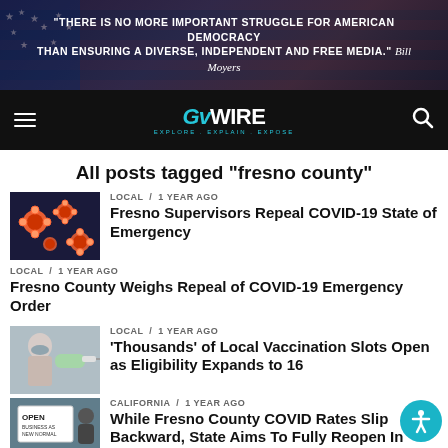[Figure (screenshot): GVWire website header with Bill Moyers quote about free media on a dark patriotic background, with navigation bar showing hamburger menu, GVWire logo, and search icon]
All posts tagged "fresno county"
[Figure (photo): Microscopic image of COVID-19 virus particles on dark background]
LOCAL / 1 year ago
Fresno Supervisors Repeal COVID-19 State of Emergency
LOCAL / 1 year ago
Fresno County Weighs Repeal of COVID-19 Emergency Order
[Figure (photo): Person in mask receiving vaccination]
LOCAL / 1 year ago
'Thousands' of Local Vaccination Slots Open as Eligibility Expands to 16
[Figure (photo): Person holding Open Business as New Normal sign]
CALIFORNIA / 1 year ago
While Fresno County COVID Rates Slip Backward, State Aims To Fully Reopen In...